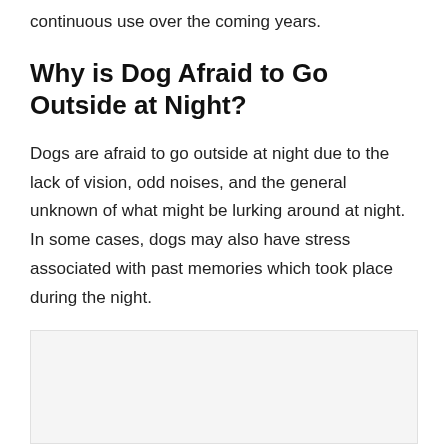continuous use over the coming years.
Why is Dog Afraid to Go Outside at Night?
Dogs are afraid to go outside at night due to the lack of vision, odd noises, and the general unknown of what might be lurking around at night. In some cases, dogs may also have stress associated with past memories which took place during the night.
[Figure (photo): Image placeholder at bottom of page (partially visible, cropped)]